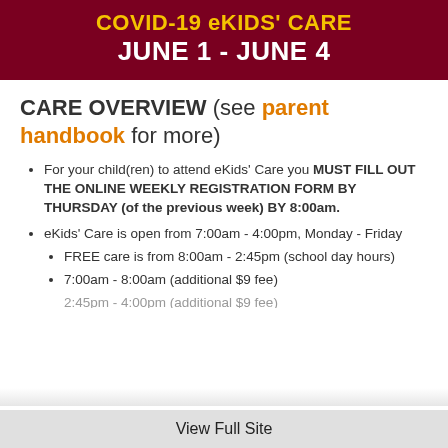COVID-19 eKIDS' CARE JUNE 1 - JUNE 4
CARE OVERVIEW (see parent handbook for more)
For your child(ren) to attend eKids' Care you MUST FILL OUT THE ONLINE WEEKLY REGISTRATION FORM BY THURSDAY (of the previous week) BY 8:00am.
eKids' Care is open from 7:00am - 4:00pm, Monday - Friday
FREE care is from 8:00am - 2:45pm (school day hours)
7:00am - 8:00am (additional $9 fee)
2:45pm - 4:00pm (additional $9 fee) [partially visible]
View Full Site